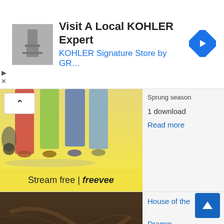[Figure (screenshot): Ad banner: thumbnail image of bathroom fixture, headline 'Visit A Local KOHLER Expert', subline 'KOHLER Signature Store by GR...', blue navigation arrow icon on right]
Sprung season
1 download
Read more
[Figure (photo): Group of colorfully dressed people standing, feet and lower body visible, yellow background with 'Stream free | freevee' text at bottom]
House of the Dragon episode 1 download